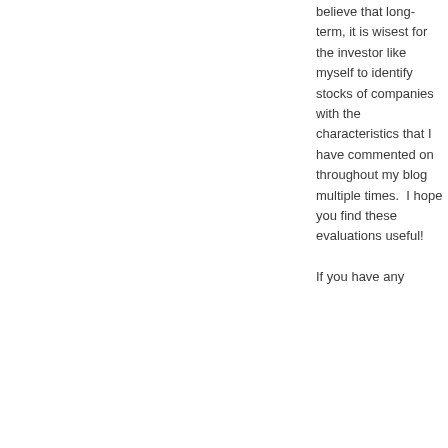believe that long-term, it is wisest for the investor like myself to identify stocks of companies with the characteristics that I have commented on throughout my blog multiple times.  I hope you find these evaluations useful!

If you have any